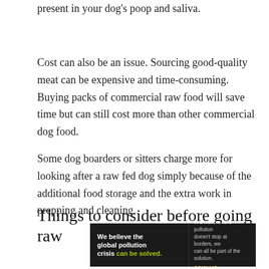present in your dog's poop and saliva.
Cost can also be an issue. Sourcing good-quality meat can be expensive and time-consuming. Buying packs of commercial raw food will save time but can still cost more than other commercial dog food.
Some dog boarders or sitters charge more for looking after a raw fed dog simply because of the additional food storage and the extra work in prepping and cleaning.
Things to consider before going raw
[Figure (other): Advertisement banner for Pure Earth organization. Black background with text: 'We believe the global pollution crisis can be solved.' with 'can be solved.' in green. Middle section: 'In a world where pollution doesn't stop at borders, we can all be part of the solution. JOIN US.' Right section shows Pure Earth logo (diamond shape with arrow) and 'PURE EARTH' text in white.]